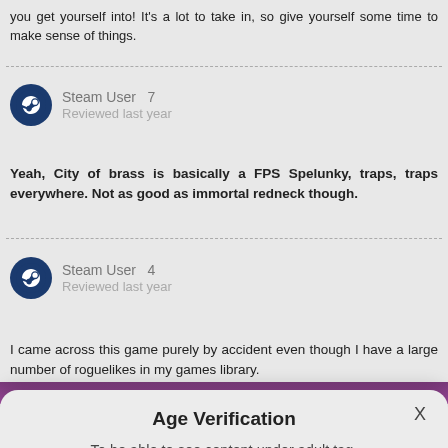you get yourself into! It's a lot to take in, so give yourself some time to make sense of things.
Steam User 7
Reviewed last year
Yeah, City of brass is basically a FPS Spelunky, traps, traps everywhere. Not as good as immortal redneck though.
Steam User 4
Reviewed last year
I came across this game purely by accident even though I have a large number of roguelikes in my games library.
Age Verification
To be able to see content under adult tag.
mm/dd/yyyy
Confirm